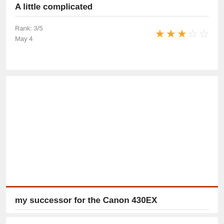A little complicated
Rank: 3/5
May 4
my successor for the Canon 430EX
Rank: 5/5
January 13